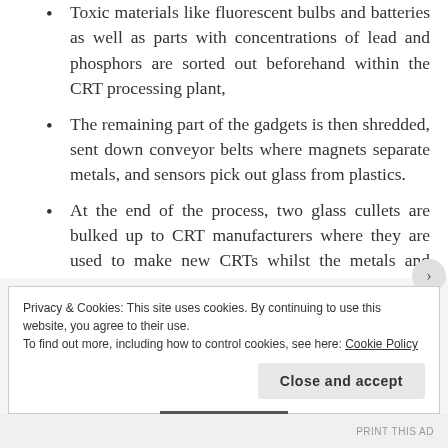Toxic materials like fluorescent bulbs and batteries as well as parts with concentrations of lead and phosphors are sorted out beforehand within the CRT processing plant,
The remaining part of the gadgets is then shredded, sent down conveyor belts where magnets separate metals, and sensors pick out glass from plastics.
At the end of the process, two glass cullets are bulked up to CRT manufacturers where they are used to make new CRTs whilst the metals and plastics are bulked and sold to relevant industries.
Privacy & Cookies: This site uses cookies. By continuing to use this website, you agree to their use. To find out more, including how to control cookies, see here: Cookie Policy